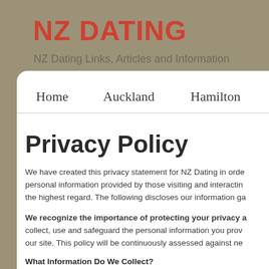NZ DATING
NZ Dating Links, Articles and Information
Home   Auckland   Hamilton   Taur
Privacy Policy
We have created this privacy statement for NZ Dating in order to demonstrate our firm commitment to privacy. The personal information provided by those visiting and interacting with this web site is held with the highest regard. The following discloses our information ga
We recognize the importance of protecting your privacy and are committed to processing it responsibly. We collect, use and safeguard the personal information you provide to us through our site. This policy will be continuously assessed against ne
What Information Do We Collect?
When you visit this web site you may provide us with two types of information: personal information you knowingly choose to disclose that is collected on an individual basis and Web site